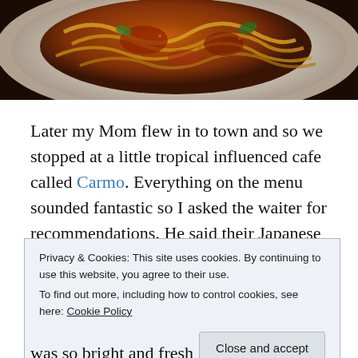[Figure (photo): Close-up photo of a bowl of noodles with tomato sauce and vegetables, shot from above on a white plate, dark background]
Later my Mom flew in to town and so we stopped at a little tropical influenced cafe called Carmo. Everything on the menu sounded fantastic so I asked the waiter for recommendations. He said their Japanese tofu dish was
Privacy & Cookies: This site uses cookies. By continuing to use this website, you agree to their use.
To find out more, including how to control cookies, see here: Cookie Policy
[Close and accept button]
was so bright and fresh